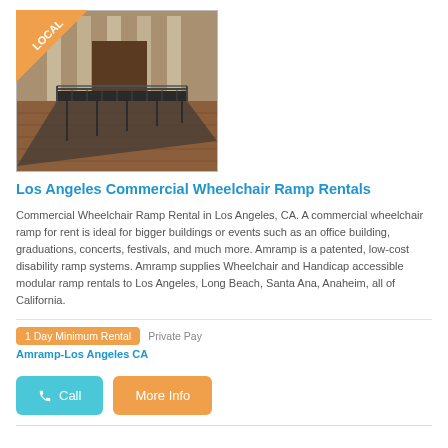[Figure (photo): Photo of a commercial wheelchair ramp with metal railings in front of a building with columns. A 'LOCAL' banner in orange is shown in the top-left corner of the image.]
Los Angeles Commercial Wheelchair Ramp Rentals
Commercial Wheelchair Ramp Rental in Los Angeles, CA. A commercial wheelchair ramp for rent is ideal for bigger buildings or events such as an office building, graduations, concerts, festivals, and much more. Amramp is a patented, low-cost disability ramp systems. Amramp supplies Wheelchair and Handicap accessible modular ramp rentals to Los Angeles, Long Beach, Santa Ana, Anaheim, all of California.
1 Day Minimum Rental   Private Pay
Amramp-Los Angeles CA
[Figure (other): Call button (blue) and More Info button (orange)]